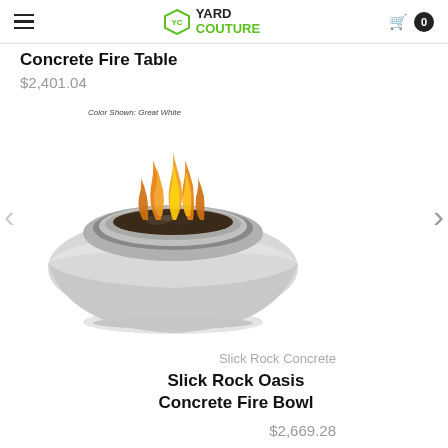Yard Couture — navigation header with hamburger menu and cart
Concrete Fire Table
$2,401.04
[Figure (photo): A Slick Rock Oasis Concrete Fire Bowl in Great White color, showing a round concrete bowl with flames visible inside, photographed on white background. Label reads: Color Shown: Great White]
Slick Rock Concrete
Slick Rock Oasis Concrete Fire Bowl
$2,669.28